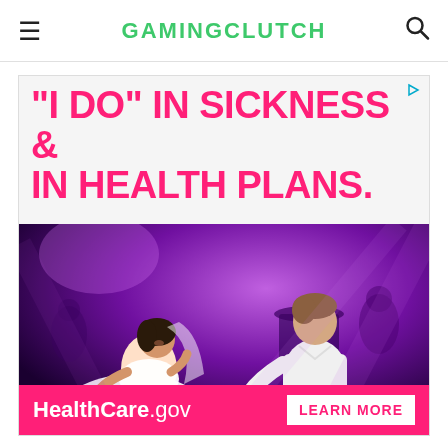GAMINGCLUTCH
[Figure (infographic): HealthCare.gov advertisement showing the text '"I DO" IN SICKNESS & IN HEALTH PLANS.' in bold pink font over a white/light background, with a photo of a bride and groom dancing at a wedding reception with purple lighting, and a pink footer bar showing 'HealthCare.gov LEARN MORE']